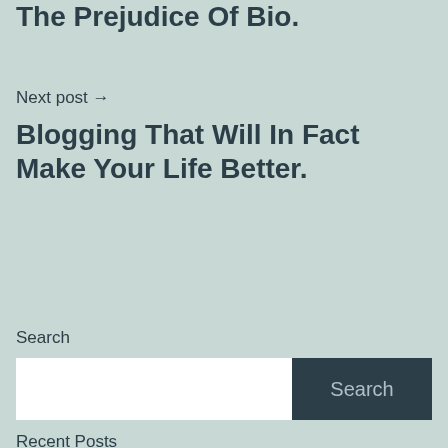The Prejudice Of Bio.
Next post →
Blogging That Will In Fact Make Your Life Better.
Search
Search
Recent Posts